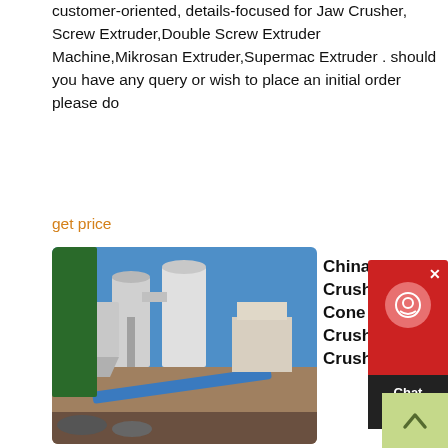customer-oriented, details-focused for Jaw Crusher, Screw Extruder,Double Screw Extruder Machine,Mikrosan Extruder,Supermac Extruder . should you have any query or wish to place an initial order please do
get price
[Figure (photo): Industrial crushing/milling machinery installation with silos and conveyors outdoors under blue sky]
China Jaw Crusher, Cone Crusher, Impact Crusher
Zhejiang Tonghui Crushing Machinery Co., Ltd. Professional engaged in mining machinery and equipment production, including ZW/ZSW series vibration feeding machine; PE series vibrating feeder, jaw crusher, PE series impact crusher, machine series, PL series of vertical impact crusher, single tube cone typical crushing machine, PY series spring cone crusher, YKJ (SZZ) series of